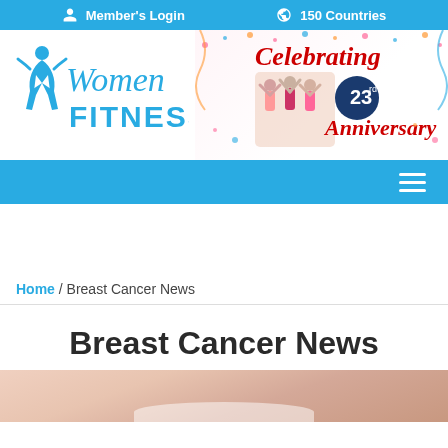Member's Login   150 Countries
[Figure (logo): Women Fitness logo with stylized female figure and blue cursive/block text]
[Figure (illustration): Celebrating 23rd Anniversary banner with women celebrating and confetti]
Home / Breast Cancer News
Breast Cancer News
[Figure (photo): Close-up photo of a woman's chest/torso area, partially visible at the bottom of the page]